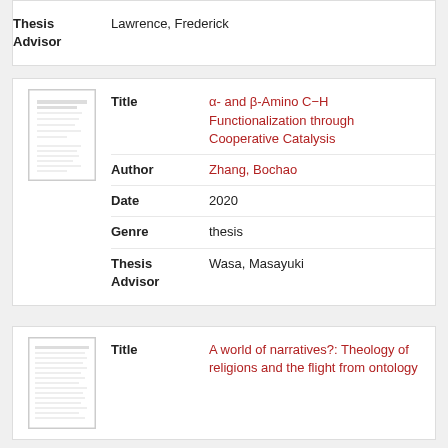| Field | Value |
| --- | --- |
| Thesis Advisor | Lawrence, Frederick |
| Field | Value |
| --- | --- |
| Title | α- and β-Amino C−H Functionalization through Cooperative Catalysis |
| Author | Zhang, Bochao |
| Date | 2020 |
| Genre | thesis |
| Thesis Advisor | Wasa, Masayuki |
| Field | Value |
| --- | --- |
| Title | A world of narratives?: Theology of religions and the flight from ontology |